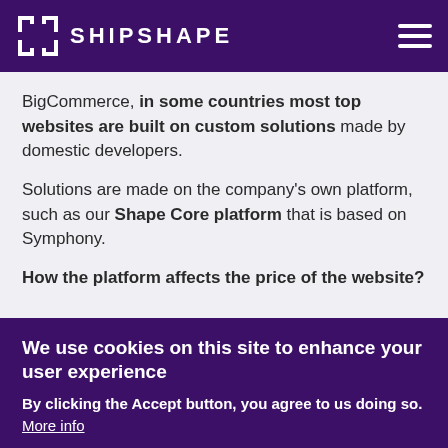SHIPSHAPE
BigCommerce, in some countries most top websites are built on custom solutions made by domestic developers.
Solutions are made on the company's own platform, such as our Shape Core platform that is based on Symphony.
How the platform affects the price of the website?
We use cookies on this site to enhance your user experience
By clicking the Accept button, you agree to us doing so.
More info
Accept | No, thanks